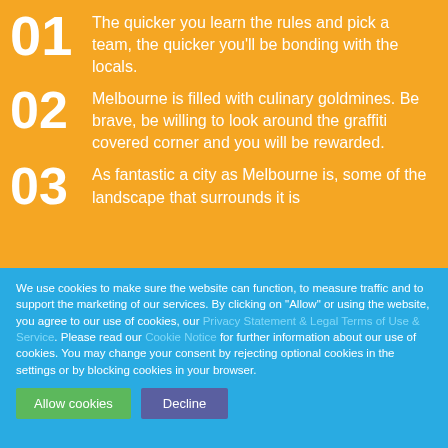01 The quicker you learn the rules and pick a team, the quicker you'll be bonding with the locals.
02 Melbourne is filled with culinary goldmines. Be brave, be willing to look around the graffiti covered corner and you will be rewarded.
03 As fantastic a city as Melbourne is, some of the landscape that surrounds it is
We use cookies to make sure the website can function, to measure traffic and to support the marketing of our services. By clicking on "Allow" or using the website, you agree to our use of cookies, our Privacy Statement & Legal Terms of Use & Service. Please read our Cookie Notice for further information about our use of cookies. You may change your consent by rejecting optional cookies in the settings or by blocking cookies in your browser.
Allow cookies | Decline